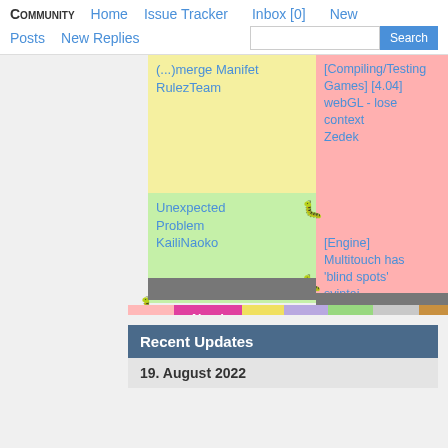COMMUNITY  Home  Issue Tracker  Inbox [0]  New  Posts  New Replies  Search
(...)merge Manifet RulezTeam
Unexpected Problem KailiNaoko
[Compiling/Testing Games] [4.04] webGL - lose context Zedek  0
[Engine] Multitouch has 'blind spots' svintaj  2
New  Need Info  Confi  Assig  Resol  Close  Duplicate
Recent Updates
19. August 2022